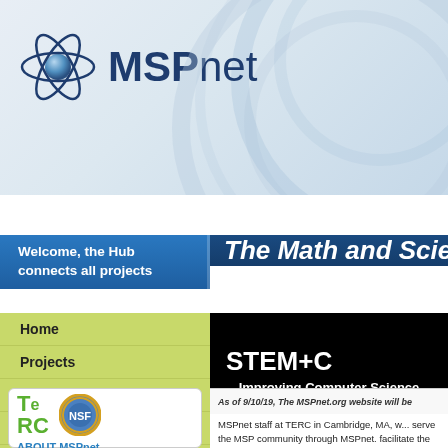MSPnet
MSPnet Hub
Welcome, the Hub connects all projects
The Math and Scie
Home
Projects
Library
Voices from the Field
Conferences
[Figure (screenshot): STEM+C banner: black background with text 'STEM+C Improving Computer Science Teaching & Lea...']
As of 9/10/19, The MSPnet.org website will be
[Figure (logo): TERC and NSF logos with text ABOUT MSPnet]
MSPnet staff at TERC in Cambridge, MA, w... serve the MSP community through MSPnet. facilitate the sharing of resources, research, conferences, as well as provide national ano... conducted by those in NSF's MSP and STE...